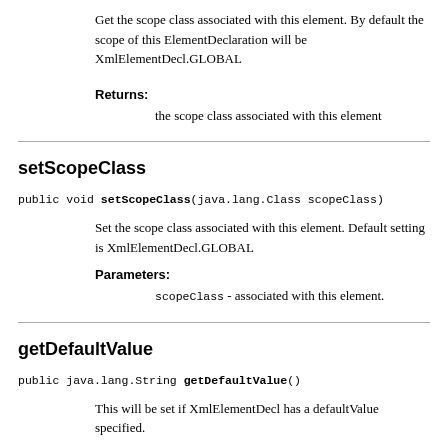Get the scope class associated with this element. By default the scope of this ElementDeclaration will be XmlElementDecl.GLOBAL
Returns:
the scope class associated with this element
setScopeClass
public void setScopeClass(java.lang.Class scopeClass)
Set the scope class associated with this element. Default setting is XmlElementDecl.GLOBAL
Parameters:
scopeClass - associated with this element.
getDefaultValue
public java.lang.String getDefaultValue()
This will be set if XmlElementDecl has a defaultValue specified.